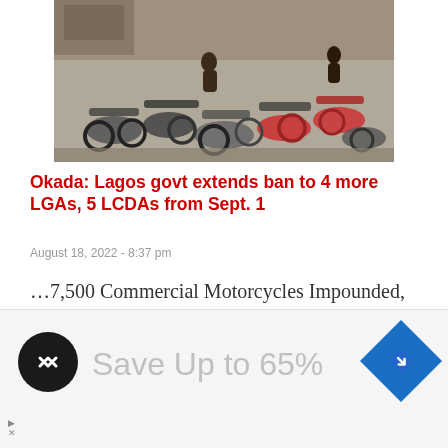[Figure (photo): A large group of motorcycles/okadas impounded and piled together on a dirt ground, some laying on their sides, in a crowded lot.]
Okada: Lagos govt extends ban to 4 more LGAs, 5 LCDAs from Sept. 1
August 18, 2022 - 8:37 pm
…7,500 Commercial Motorcycles Impounded, Crushed Since June 1 …'Enforcement'll Be Total, Livelihood Support For Willing Riders' - Govt Insists
[Figure (infographic): Advertisement banner: black circular icon with two overlapping arrows (Supermetrics or similar brand logo), blue diamond with right-arrow icon, and large grey text reading 'Save Up to 65%'. Small ad indicator (triangle with X) at bottom left.]